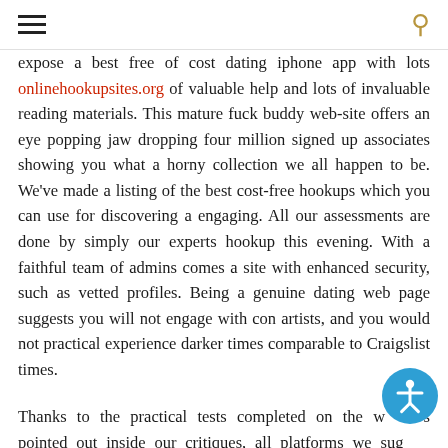[hamburger menu] [search icon]
expose a best free of cost dating iphone app with lots onlinehookupsites.org of valuable help and lots of invaluable reading materials. This mature fuck buddy web-site offers an eye popping jaw dropping four million signed up associates showing you what a horny collection we all happen to be. We've made a listing of the best cost-free hookups which you can use for discovering a engaging. All our assessments are done by simply our experts hookup this evening. With a faithful team of admins comes a site with enhanced security, such as vetted profiles. Being a genuine dating web page suggests you will not engage with con artists, and you would not practical experience darker times comparable to Craigslist times.
Thanks to the practical tests completed on the websites pointed out inside our critiques, all platforms we suggest are actually verified. Instantaneous messaging is a further key